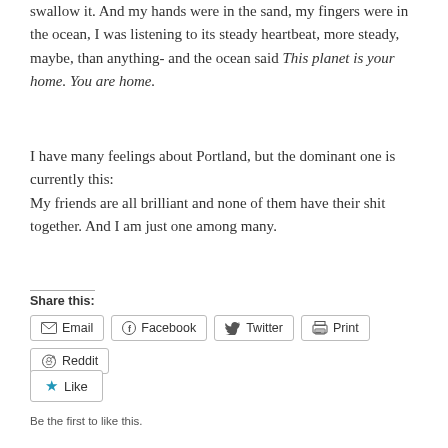swallow it. And my hands were in the sand, my fingers were in the ocean, I was listening to its steady heartbeat, more steady, maybe, than anything- and the ocean said This planet is your home. You are home.
I have many feelings about Portland, but the dominant one is currently this:
My friends are all brilliant and none of them have their shit together. And I am just one among many.
Share this:
[Figure (other): Share buttons: Email, Facebook, Twitter, Print, Reddit]
[Figure (other): Like button with star icon]
Be the first to like this.